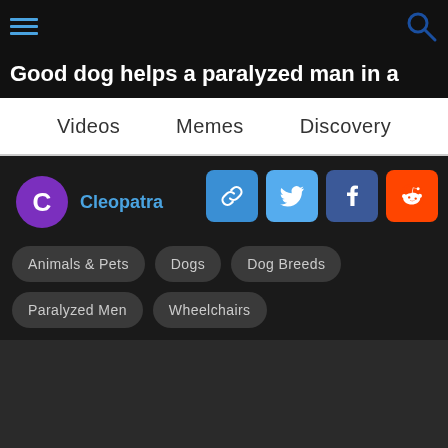Good dog helps a paralyzed man in a
Videos   Memes   Discovery
C  Cleopatra
Animals & Pets
Dogs
Dog Breeds
Paralyzed Men
Wheelchairs